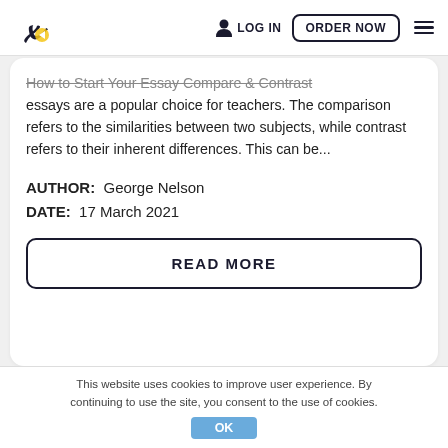LOG IN  ORDER NOW
How to Start Your Essay Compare & Contrast essays are a popular choice for teachers. The comparison refers to the similarities between two subjects, while contrast refers to their inherent differences. This can be...
AUTHOR:  George Nelson
DATE:  17 March 2021
READ MORE
This website uses cookies to improve user experience. By continuing to use the site, you consent to the use of cookies. OK